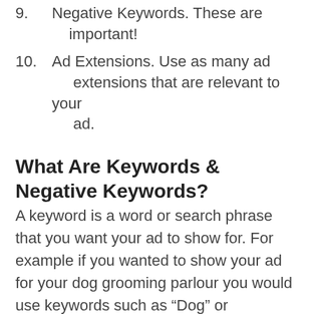9. Negative Keywords. These are important!
10. Ad Extensions. Use as many ad extensions that are relevant to your ad.
What Are Keywords & Negative Keywords?
A keyword is a word or search phrase that you want your ad to show for. For example if you wanted to show your ad for your dog grooming parlour you would use keywords such as “Dog” or